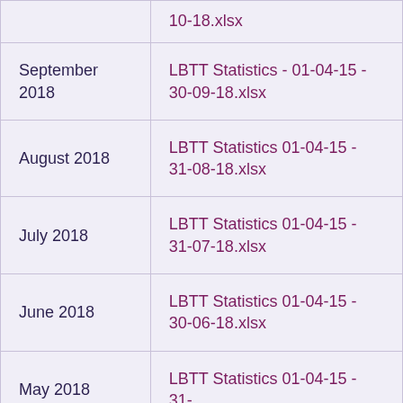| Period | File |
| --- | --- |
|  | 10-18.xlsx |
| September 2018 | LBTT Statistics - 01-04-15 - 30-09-18.xlsx |
| August 2018 | LBTT Statistics 01-04-15 - 31-08-18.xlsx |
| July 2018 | LBTT Statistics 01-04-15 - 31-07-18.xlsx |
| June 2018 | LBTT Statistics 01-04-15 - 30-06-18.xlsx |
| May 2018 | LBTT Statistics 01-04-15 - 31- |